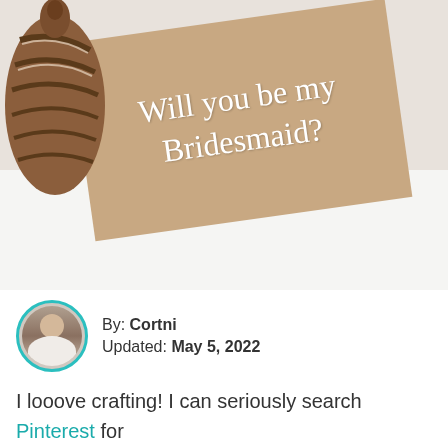[Figure (photo): A photo of a seashell next to a kraft paper card with white handwritten text reading 'Will you be my Bridesmaid?' on a white surface.]
By: Cortni
Updated: May 5, 2022
I looove crafting! I can seriously search Pinterest for hours and hours just looking at different DIYs. I think